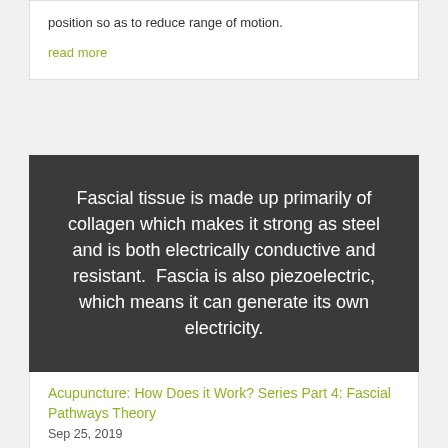position so as to reduce range of motion.
read more
Fascial tissue is made up primarily of collagen which makes it strong as steel and is both electrically conductive and resistant.  Fascia is also piezoelectric, which means it can generate its own electricity.
Acupuncture: How Does it Work? Series Part 4: Fascial Pathways Theory
Sep 25, 2019